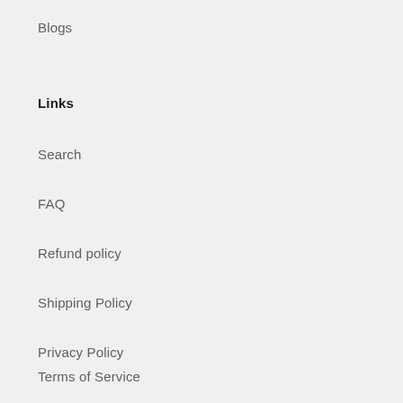Blogs
Links
Search
FAQ
Refund policy
Shipping Policy
Privacy Policy
Terms of Service